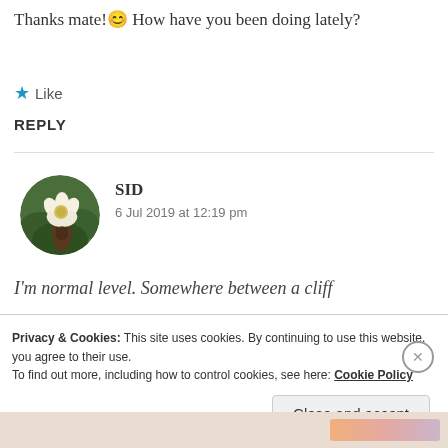Thanks mate! 😊 How have you been doing lately?
★ Like
REPLY
[Figure (photo): Circular avatar photo of a person holding a white flower against a green background]
SID
6 Jul 2019 at 12:19 pm
I'm normal level. Somewhere between a cliff
Privacy & Cookies: This site uses cookies. By continuing to use this website, you agree to their use.
To find out more, including how to control cookies, see here: Cookie Policy
Close and accept